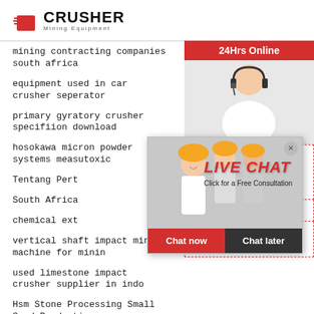[Figure (logo): Crusher Mining Equipment logo with red shopping bag icon and bold CRUSHER text]
mining contracting companies south africa
equipment used in car crusher seperator
primary gyratory crusher specifiion download
hosokawa micron powder systems measutoxic
Tentang Pert
South Africa
chemical ext
vertical shaft impact mining machine for mining
used limestone impact crusher supplier in indo
Hsm Stone Processing Small Sand Production
[Figure (screenshot): Live Chat popup overlay with workers image, LIVE CHAT heading, Click for a Free Consultation text, Chat now and Chat later buttons]
[Figure (infographic): Right sidebar showing 24Hrs Online banner, customer service agent photo, Need questions & suggestion text, Chat Now button, Enquiry section, and mumumugoods@gmail.com email]